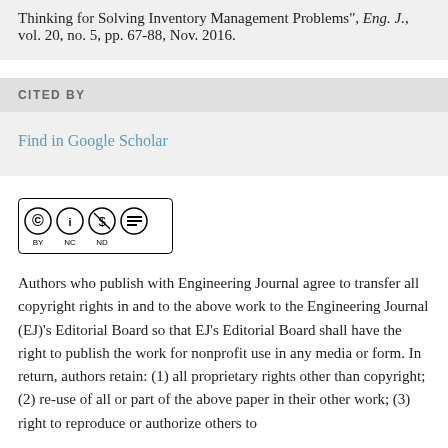Thinking for Solving Inventory Management Problems", Eng. J., vol. 20, no. 5, pp. 67-88, Nov. 2016.
CITED BY
Find in Google Scholar
[Figure (logo): Creative Commons BY NC ND license badge]
Authors who publish with Engineering Journal agree to transfer all copyright rights in and to the above work to the Engineering Journal (EJ)'s Editorial Board so that EJ's Editorial Board shall have the right to publish the work for nonprofit use in any media or form. In return, authors retain: (1) all proprietary rights other than copyright; (2) re-use of all or part of the above paper in their other work; (3) right to reproduce or authorize others to